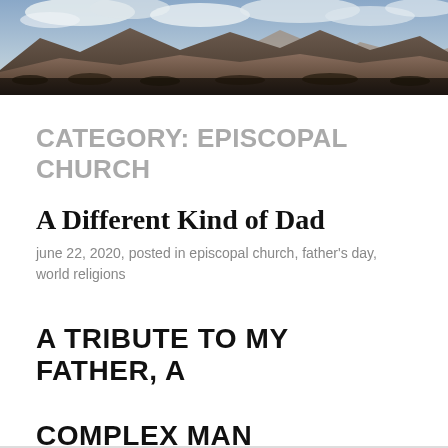[Figure (photo): A panoramic landscape photo showing desert mountains and red rock formations under a partly cloudy sky, used as a website header banner.]
CATEGORY: EPISCOPAL CHURCH
A Different Kind of Dad
june 22, 2020, posted in episcopal church, father's day, world religions
A TRIBUTE TO MY FATHER, A COMPLEX MAN